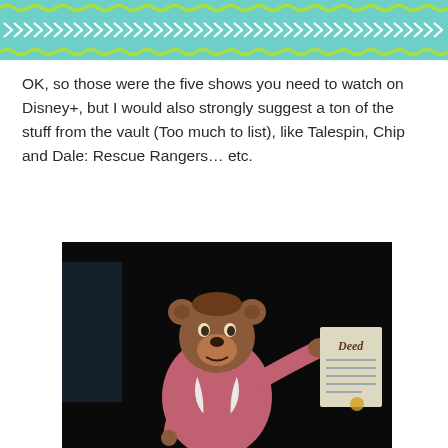[Figure (illustration): Decorative banner with teal background, white chevron arrows pattern in the middle row, and green wavy lines on top and bottom borders]
OK, so those were the five shows you need to watch on Disney+, but I would also strongly suggest a ton of the stuff from the vault (Too much to list), like Talespin, Chip and Dale: Rescue Rangers… etc.
[Figure (photo): Screenshot from an animated cartoon (TaleSpin) showing a cartoon bear character in a pink jacket holding a document that says 'Deed' on it, dark background]